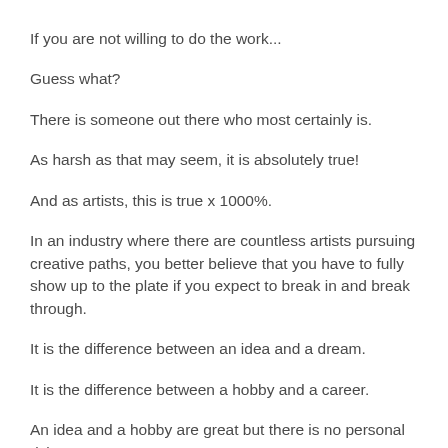If you are not willing to do the work...
Guess what?
There is someone out there who most certainly is.
As harsh as that may seem, it is absolutely true!
And as artists, this is true x 1000%.
In an industry where there are countless artists pursuing creative paths, you better believe that you have to fully show up to the plate if you expect to break in and break through.
It is the difference between an idea and a dream.
It is the difference between a hobby and a career.
An idea and a hobby are great but there is no personal risk